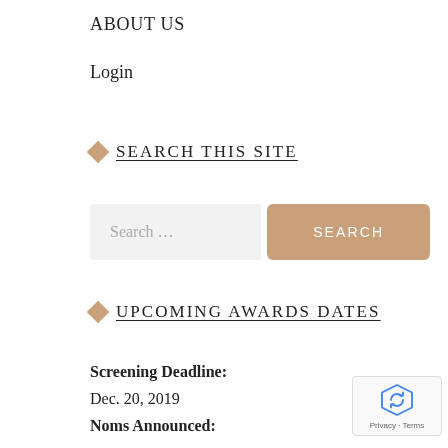ABOUT US
Login
SEARCH THIS SITE
[Figure (screenshot): Search input field with placeholder text 'Search ...' and a tan/beige 'SEARCH' button]
UPCOMING AWARDS DATES
Screening Deadline:
Dec. 20, 2019
Noms Announced:
Dec. 23, 2019
Winners Announced: